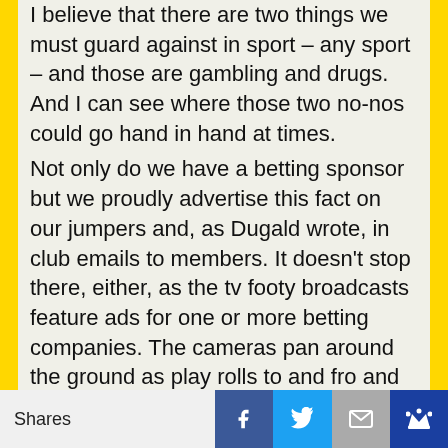I believe that there are two things we must guard against in sport – any sport – and those are gambling and drugs. And I can see where those two no-nos could go hand in hand at times.
Not only do we have a betting sponsor but we proudly advertise this fact on our jumpers and, as Dugald wrote, in club emails to members. It doesn't stop there, either, as the tv footy broadcasts feature ads for one or more betting companies. The cameras pan around the ground as play rolls to and fro and we glimpse (almost subliminally) the names of these companies. Commentators giving previews of the game to be viewed will mention betting odds or this will be flashed on the screen.
It is difficult not to see these figures.
A couple of days ago I was shopping down at the
Shares